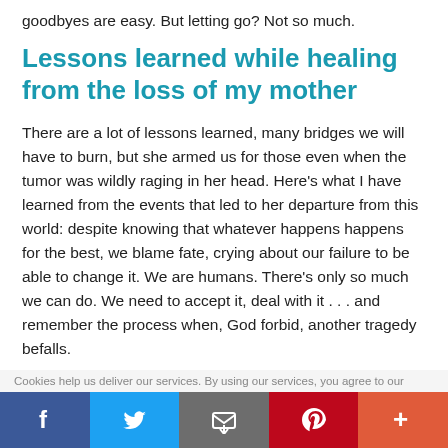goodbyes are easy. But letting go? Not so much.
Lessons learned while healing from the loss of my mother
There are a lot of lessons learned, many bridges we will have to burn, but she armed us for those even when the tumor was wildly raging in her head. Here's what I have learned from the events that led to her departure from this world: despite knowing that whatever happens happens for the best, we blame fate, crying about our failure to be able to change it. We are humans. There's only so much we can do. We need to accept it, deal with it . . . and remember the process when, God forbid, another tragedy befalls.
Cookies help us deliver our services. By using our services, you agree to our